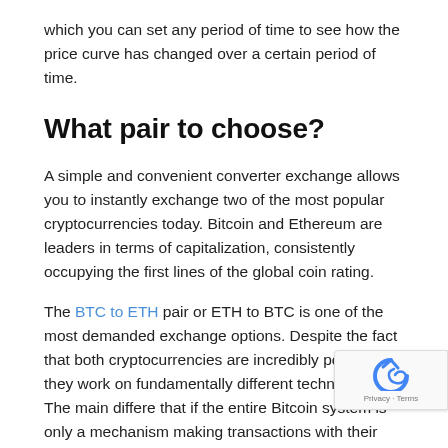which you can set any period of time to see how the price curve has changed over a certain period of time.
What pair to choose?
A simple and convenient converter exchange allows you to instantly exchange two of the most popular cryptocurrencies today. Bitcoin and Ethereum are leaders in terms of capitalization, consistently occupying the first lines of the global coin rating.
The BTC to ETH pair or ETH to BTC is one of the most demanded exchange options. Despite the fact that both cryptocurrencies are incredibly popular, they work on fundamentally different technologies. The main differe that if the entire Bitcoin system is only a mechanism making transactions with their recording on the blockchain